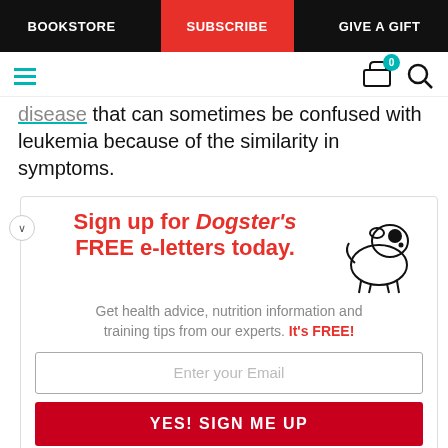BOOKSTORE | SUBSCRIBE | GIVE A GIFT
disease that can sometimes be confused with leukemia because of the similarity in symptoms.
[Figure (infographic): Dogster newsletter sign-up promotional box with cartoon dog illustration, headline 'Sign up for Dogster's FREE e-letters today.', subtext 'Get health advice, nutrition information and training tips from our experts. It's FREE!', email input field, and red sign-up button.]